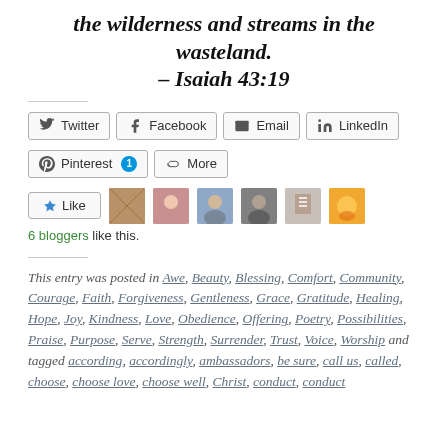the wilderness and streams in the wasteland. – Isaiah 43:19
[Figure (other): Social share buttons: Twitter, Facebook, Email, LinkedIn, Pinterest (1), More]
[Figure (other): Like button with 6 blogger avatars]
6 bloggers like this.
This entry was posted in Awe, Beauty, Blessing, Comfort, Community, Courage, Faith, Forgiveness, Gentleness, Grace, Gratitude, Healing, Hope, Joy, Kindness, Love, Obedience, Offering, Poetry, Possibilities, Praise, Purpose, Serve, Strength, Surrender, Trust, Voice, Worship and tagged according, accordingly, ambassadors, be sure, call us, called, choose, choose love, choose well, Christ, conduct, conduct